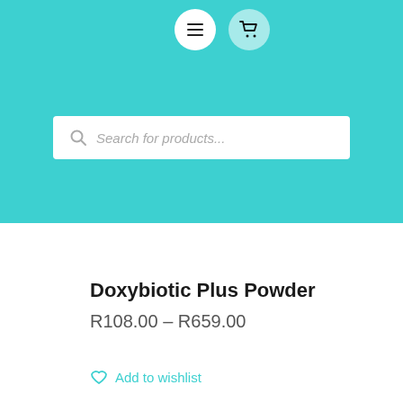[Figure (screenshot): Navigation header with hamburger menu button and shopping cart button on a teal background]
[Figure (screenshot): Search bar with placeholder text 'Search for products...' on a teal background]
Doxybiotic Plus Powder
R108.00 – R659.00
Add to wishlist